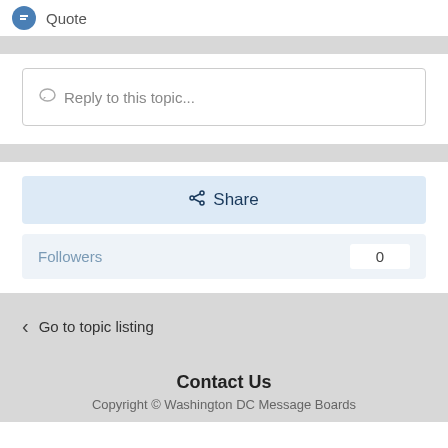Quote
Reply to this topic...
Share
Followers 0
Go to topic listing
Contact Us
Copyright © Washington DC Message Boards